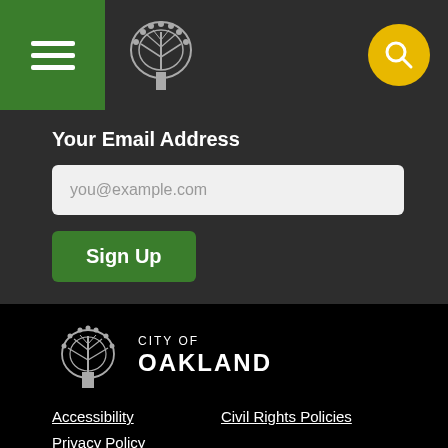[Figure (logo): City of Oakland tree logo in header navigation bar with hamburger menu and search button]
Your Email Address
[Figure (screenshot): Email input field with placeholder text you@example.com]
Sign Up
[Figure (logo): City of Oakland logo with tree icon, text CITY OF OAKLAND]
Accessibility
Civil Rights Policies
Privacy Policy
[Figure (infographic): Social media icons: Facebook, Twitter, Instagram]